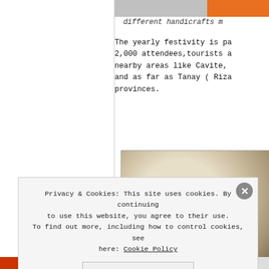[Figure (photo): Partial view of image at top right, showing orange color element - appears to be handicrafts market photo]
different handicrafts m
The yearly festivity is pa 2,000 attendees,tourists a nearby areas like Cavite, and as far as Tanay ( Riza provinces.
[Figure (photo): Close-up photo of what appears to be a round dough or clay/ceramic bowl, light beige color]
Privacy & Cookies: This site uses cookies. By continuing to use this website, you agree to their use. To find out more, including how to control cookies, see here: Cookie Policy
Close and accept